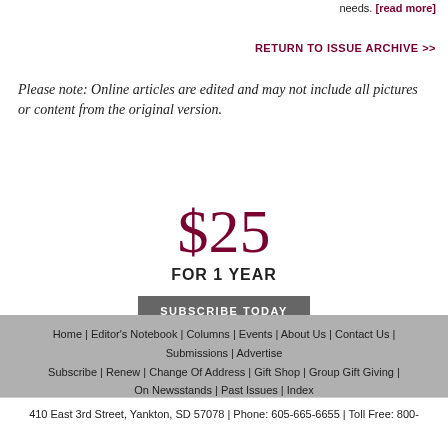needs. [read more]
RETURN TO ISSUE ARCHIVE >>
Please note: Online articles are edited and may not include all pictures or content from the original version.
$25 FOR 1 YEAR SUBSCRIBE TODAY
Home | Editor's Notebook | Columns | Events | About Us | Contact Us | Submissions | Advertise Subscribe | Renew | Change Of Address | Gift Shop | Group Gift Giving | On Newsstands | Past Issues | Index 410 East 3rd Street, Yankton, SD 57078 | Phone: 605-665-6655 | Toll Free: 800-